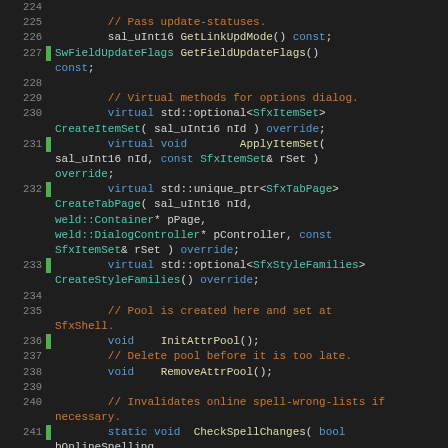[Figure (screenshot): Source code listing in a dark-themed code editor showing C++ class method declarations, lines 224-244, with syntax highlighting. Green gutter markers on some lines, line numbers in grey, comments in orange/red, keywords in blue, types in teal, and identifiers in light yellow/white.]